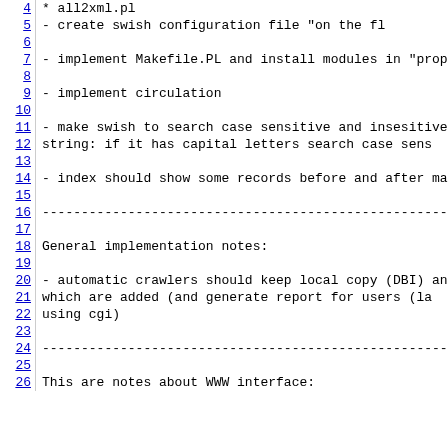4  * all2xml.pl
5      - create swish configuration file "on the fl
6
7  - implement Makefile.PL and install modules in "prop
8
9  - implement circulation
10
11 - make swish to search case sensitive and insesitive
12   string: if it has capital letters search case sens
13
14 - index should show some records before and after ma
15
16 ---...
17
18 General implementation notes:
19
20 - automatic crawlers should keep local copy (DBI) an
21   which are added (and generate report for users (la
22   using cgi)
23
24 ---...
25
26 This are notes about WWW interface: